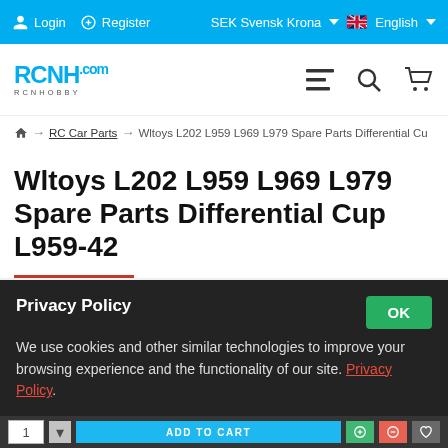Login  Register  SEK Svensk Krona  English
[Figure (logo): RCNHOBBY logo with blue and dark text, hamburger menu, search and cart icons]
Home → RC Car Parts → Wltoys L202 L959 L969 L979 Spare Parts Differential Cu
Wltoys L202 L959 L969 L979 Spare Parts Differential Cup L959-42
Privacy Policy
We use cookies and other similar technologies to improve your browsing experience and the functionality of our site. Privacy Policy.
1  ADD TO CART